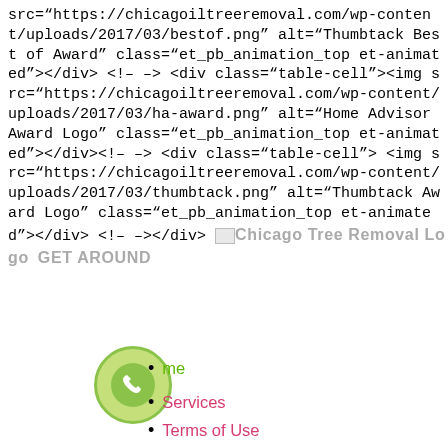src="https://chicagoiltreeremoval.com/wp-content/uploads/2017/03/bestof.png" alt="Thumbtack Best of Award" class="et_pb_animation_top et-animated"></div><!-- --> <div class="table-cell"><img src="https://chicagoiltreeremoval.com/wp-content/uploads/2017/03/ha-award.png" alt="Home Advisor Award Logo" class="et_pb_animation_top et-animated"></div><!-- --> <div class="table-cell"><img src="https://chicagoiltreeremoval.com/wp-content/uploads/2017/03/thumbtack.png" alt="Thumbtack Award Logo" class="et_pb_animation_top et-animated"></div><!-- --></div> [Chicago Tree Removal Logo] GET AROUND
Home
Services
Terms of Use
Privacy Policy